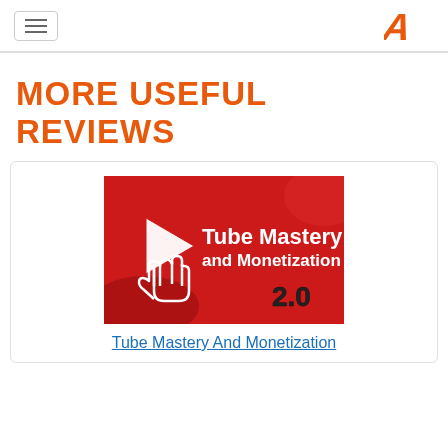Navigation bar with hamburger menu and logo
MORE USEFUL REVIEWS
[Figure (illustration): Tube Mastery and Monetization 2.0 promotional banner with red background, play button arrow icon, cursor hand icon, and bold text reading 'Tube Mastery and Monetization 2.0']
Tube Mastery And Monetization